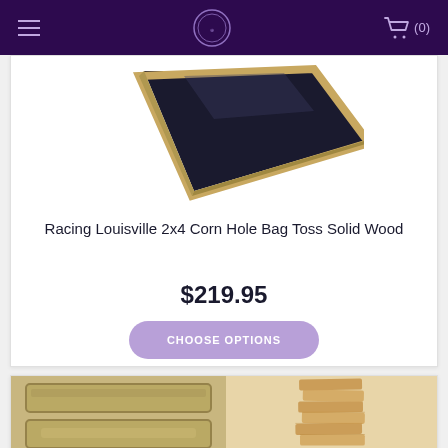Navigation header with hamburger menu, logo, and cart (0)
[Figure (photo): Angled view of a wooden corn hole board with dark/black surface, partial view from above]
Racing Louisville 2x4 Corn Hole Bag Toss Solid Wood
$219.95
CHOOSE OPTIONS
[Figure (photo): Two product images side by side: left shows blurred wooden boards with text engraving, right shows stacked Jenga-style wooden blocks]